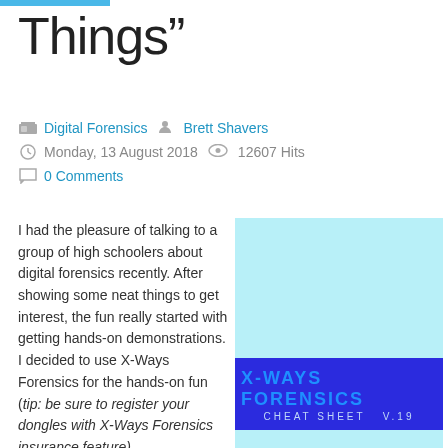Things”
Digital Forensics   Brett Shavers
Monday, 13 August 2018   12607 Hits
0 Comments
I had the pleasure of talking to a group of high schoolers about digital forensics recently. After showing some neat things to get interest, the fun really started with getting hands-on demonstrations. I decided to use X-Ways Forensics for the hands-on fun (tip: be sure to register your dongles with X-Ways Forensics insurance feature).
[Figure (illustration): X-Ways Forensics Cheat Sheet V.19 book cover — light cyan background with blue title band at bottom reading X-WAYS FORENSICS CHEAT SHEET V.19]